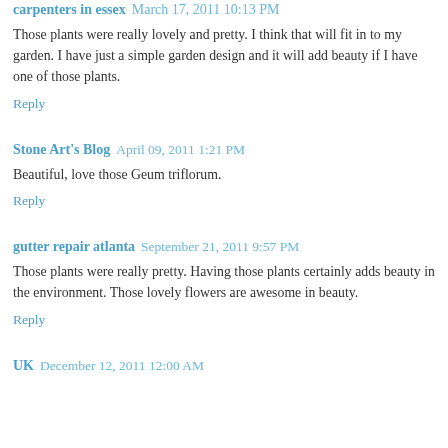carpenters in essex  March 17, 2011 10:13 PM
Those plants were really lovely and pretty. I think that will fit in to my garden. I have just a simple garden design and it will add beauty if I have one of those plants.
Reply
Stone Art's Blog  April 09, 2011 1:21 PM
Beautiful, love those Geum triflorum.
Reply
gutter repair atlanta  September 21, 2011 9:57 PM
Those plants were really pretty. Having those plants certainly adds beauty in the environment. Those lovely flowers are awesome in beauty.
Reply
UK  December 12, 2011 12:00 AM